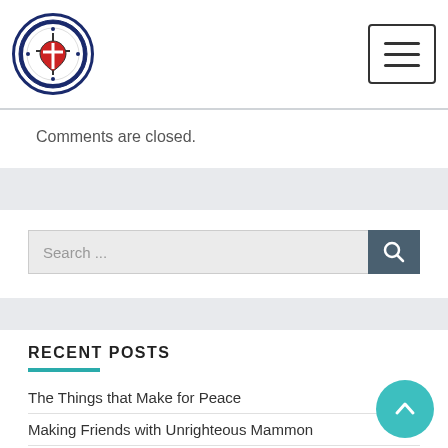[Figure (logo): Circular church/organization logo with cross and shield design, dark navy blue border]
[Figure (other): Hamburger menu icon button with three horizontal lines, square border]
Comments are closed.
[Figure (other): Search input field with placeholder text 'Search ...' and a teal/dark search button with magnifying glass icon]
RECENT POSTS
The Things that Make for Peace
Making Friends with Unrighteous Mammon
A Good Tree Bears Good Fruit